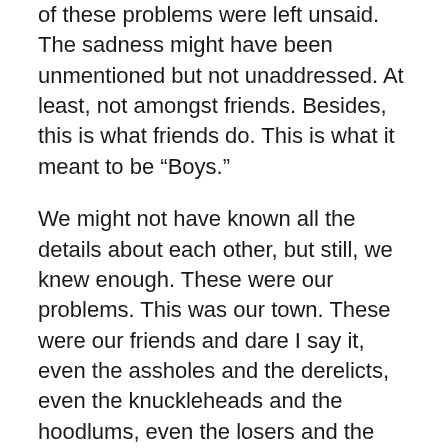of these problems were left unsaid. The sadness might have been unmentioned but not unaddressed. At least, not amongst friends. Besides, this is what friends do. This is what it meant to be “Boys.”
We might not have known all the details about each other, but still, we knew enough. These were our problems. This was our town. These were our friends and dare I say it, even the assholes and the derelicts, even the knuckleheads and the hoodlums, even the losers and the wannabes or call them what you will, still, they were ours. Good or bad, rich or poor, these were our friends and these were the kids we grew up with. We might have argued. We might have fought. But either way, we accepted each other.
I come across old movies from my past. They remind me